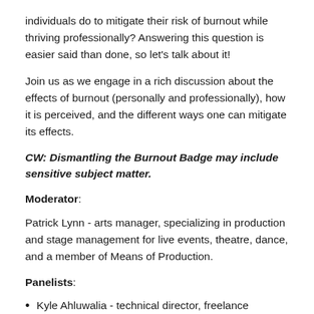individuals do to mitigate their risk of burnout while thriving professionally? Answering this question is easier said than done, so let's talk about it!
Join us as we engage in a rich discussion about the effects of burnout (personally and professionally), how it is perceived, and the different ways one can mitigate its effects.
CW: Dismantling the Burnout Badge may include sensitive subject matter.
Moderator:
Patrick Lynn - arts manager, specializing in production and stage management for live events, theatre, dance, and a member of Means of Production.
Panelists:
Kyle Ahluwalia - technical director, freelance